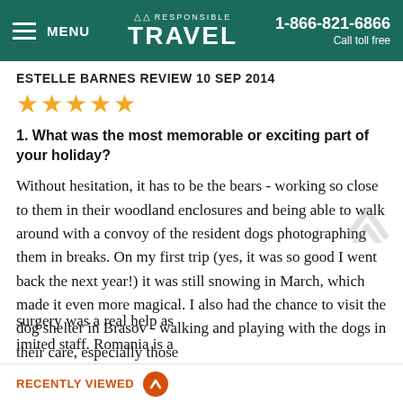Responsible Travel | 1-866-821-6866 | Call toll free
ESTELLE BARNES REVIEW 10 SEP 2014
★★★★★
1. What was the most memorable or exciting part of your holiday?
Without hesitation, it has to be the bears - working so close to them in their woodland enclosures and being able to walk around with a convoy of the resident dogs photographing them in breaks. On my first trip (yes, it was so good I went back the next year!) it was still snowing in March, which made it even more magical. I also had the chance to visit the dog shelter in Brasov - walking and playing with the dogs in their care, especially those ...surgery was a real help as ...imited staff. Romania is a
RECENTLY VIEWED